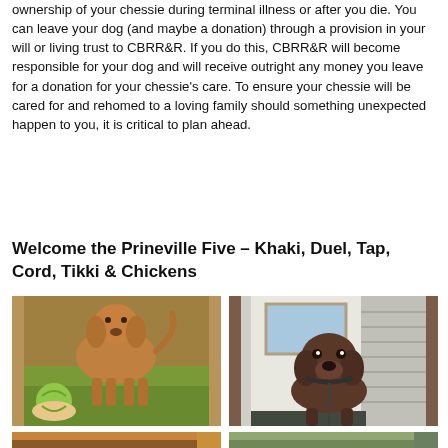ownership of your chessie during terminal illness or after you die. You can leave your dog (and maybe a donation) through a provision in your will or living trust to CBRR&R. If you do this, CBRR&R will become responsible for your dog and will receive outright any money you leave for a donation for your chessie's care. To ensure your chessie will be cared for and rehomed to a loving family should something unexpected happen to you, it is critical to plan ahead.
Welcome the Prineville Five – Khaki, Duel, Tap, Cord, Tikki & Chickens
[Figure (photo): A golden/reddish Chesapeake Bay Retriever dog standing on grass, with a person's hand holding a green ball in the foreground.]
[Figure (photo): A dark brown Chesapeake Bay Retriever dog sitting by a door with a leash on, looking at the camera.]
[Figure (photo): Partial view of another dog, cut off at bottom of page.]
[Figure (photo): Partial view of another scene, cut off at bottom of page.]